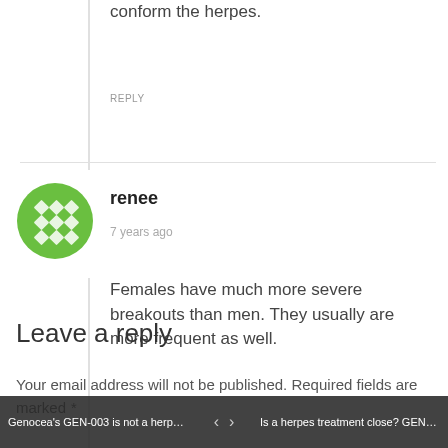conform the herpes.
REPLY
[Figure (illustration): Green circular avatar icon with diamond/rhombus pattern in white on green background]
renee
7 years ago
Females have much more severe breakouts than men. They usually are more frequent as well.
REPLY
Leave a reply
Your email address will not be published. Required fields are marked *
Genocea's GEN-003 is not a herpe...   <   >   Is a herpes treatment close? GEN-...